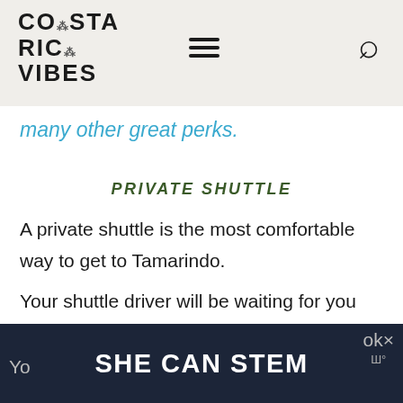COSTA RICA VIBES
many other great perks.
PRIVATE SHUTTLE
A private shuttle is the most comfortable way to get to Tamarindo.
Your shuttle driver will be waiting for you when you exit the airport and will take care of everything.
SHE CAN STEM